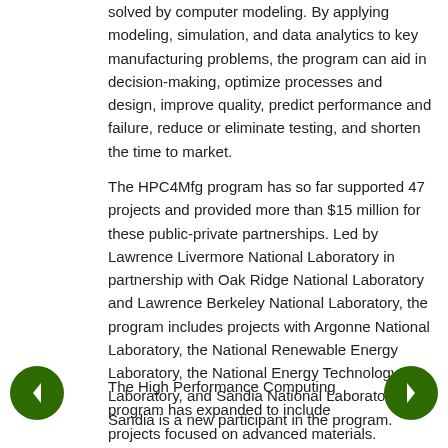solved by computer modeling. By applying modeling, simulation, and data analytics to key manufacturing problems, the program can aid in decision-making, optimize processes and design, improve quality, predict performance and failure, reduce or eliminate testing, and shorten the time to market.
The HPC4Mfg program has so far supported 47 projects and provided more than $15 million for these public-private partnerships. Led by Lawrence Livermore National Laboratory in partnership with Oak Ridge National Laboratory and Lawrence Berkeley National Laboratory, the program includes projects with Argonne National Laboratory, the National Renewable Energy Laboratory, the National Energy Technology Laboratory, and Sandia National Laboratories. Sandia is a new participant in the program.
The High Performance Computing program has expanded to include projects focused on advanced materials. (Earlier post.) Two seedling projects are part of DOE's